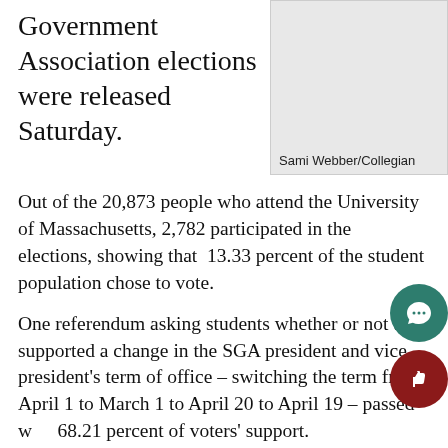Government Association elections were released Saturday.
[Figure (photo): Photo placeholder with caption: Sami Webber/Collegian]
Sami Webber/Collegian
Out of the 20,873 people who attend the University of Massachusetts, 2,782 participated in the elections, showing that 13.33 percent of the student population chose to vote.
One referendum asking students whether or not they supported a change in the SGA president and vice president's term of office – switching the term from April 1 to March 1 to April 20 to April 19 – passed with 68.21 percent of voters' support.
The change was proposed “for the purpose of creating